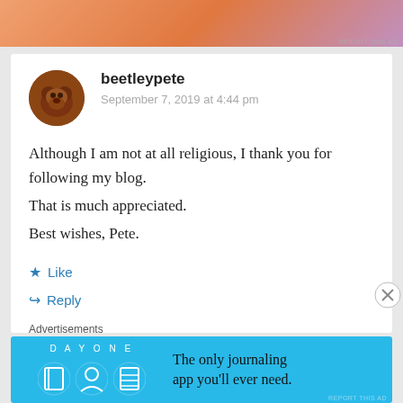[Figure (other): Top advertisement banner with orange-pink gradient background]
beetleypete
September 7, 2019 at 4:44 pm
Although I am not at all religious, I thank you for following my blog.
That is much appreciated.
Best wishes, Pete.
Like
Reply
Advertisements
[Figure (other): Day One journaling app advertisement: blue background with app icon illustrations and text 'The only journaling app you'll ever need.']